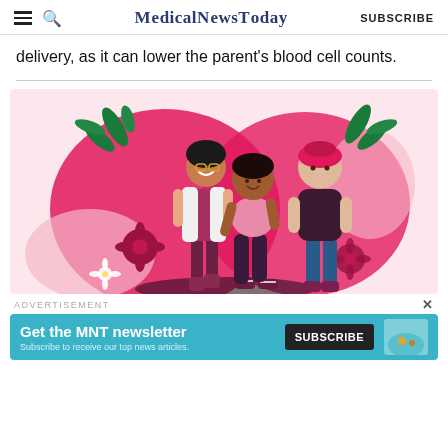MedicalNewsToday  SUBSCRIBE
delivery, as it can lower the parent’s blood cell counts.
[Figure (illustration): Colorful illustration of three women of diverse body types and ethnicities celebrating together, surrounded by pink floral and leaf decorations on a pink background. One woman wears a white blazer and maroon outfit, another wears a pink top and dark jeans with sneakers, and a third wears a dark top with teal pants.]
ADVERTISEMENT
[Figure (screenshot): MNT newsletter subscription banner with teal background reading 'Get the MNT newsletter' and 'Subscribe to receive our top news articles.' with a black SUBSCRIBE button and a partially visible image of a fish bowl.]